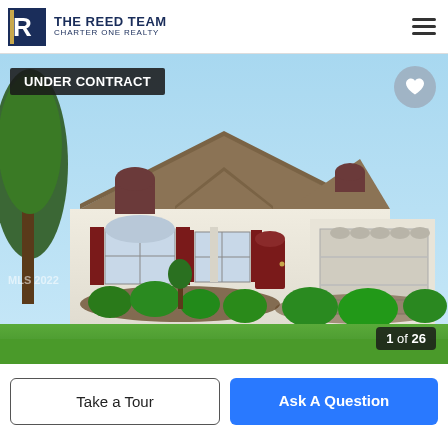[Figure (logo): The Reed Team, Charter One Realty logo with stylized R icon in dark navy blue]
[Figure (photo): Exterior photo of a single-story residential home with beige/cream siding, dark red shutters and arched windows, brown shingled roof, large two-car garage on right, lush green lawn with manicured shrubs and small trees in landscaped beds, blue sky background. Watermark: MLS 2022. Status badge: UNDER CONTRACT. Photo counter: 1 of 26.]
UNDER CONTRACT
1 of 26
Take a Tour
Ask A Question